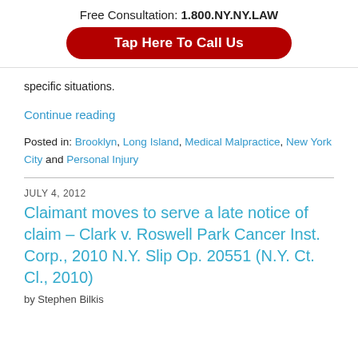Free Consultation: 1.800.NY.NY.LAW
[Figure (other): Red rounded button with text 'Tap Here To Call Us']
specific situations.
Continue reading
Posted in: Brooklyn, Long Island, Medical Malpractice, New York City and Personal Injury
JULY 4, 2012
Claimant moves to serve a late notice of claim – Clark v. Roswell Park Cancer Inst. Corp., 2010 N.Y. Slip Op. 20551 (N.Y. Ct. Cl., 2010)
by Stephen Bilkis